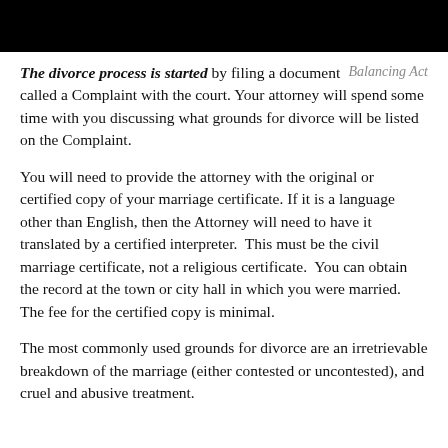[Figure (other): Black header bar at top of page]
The divorce process is started by filing a document called a Complaint with the court. Your attorney will spend some time with you discussing what grounds for divorce will be listed on the Complaint.
Balancing Act
You will need to provide the attorney with the original or certified copy of your marriage certificate. If it is a language other than English, then the Attorney will need to have it translated by a certified interpreter.  This must be the civil marriage certificate, not a religious certificate.  You can obtain the record at the town or city hall in which you were married. The fee for the certified copy is minimal.
The most commonly used grounds for divorce are an irretrievable breakdown of the marriage (either contested or uncontested), and cruel and abusive treatment.